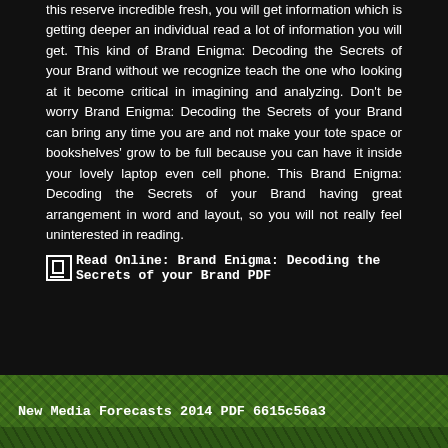this reserve incredible fresh, you will get information which is getting deeper an individual read a lot of information you will get. This kind of Brand Enigma: Decoding the Secrets of your Brand without we recognize teach the one who looking at it become critical in imagining and analyzing. Don't be worry Brand Enigma: Decoding the Secrets of your Brand can bring any time you are and not make your tote space or bookshelves' grow to be full because you can have it inside your lovely laptop even cell phone. This Brand Enigma: Decoding the Secrets of your Brand having great arrangement in word and layout, so you will not really feel uninterested in reading.
Read Online: Brand Enigma: Decoding the Secrets of your Brand PDF
New Media Forecasts 2014 PDF 6615c56a3
Step Plan John Vincent Kriney PDF 3ae543bef
Search …
RECENT POSTS